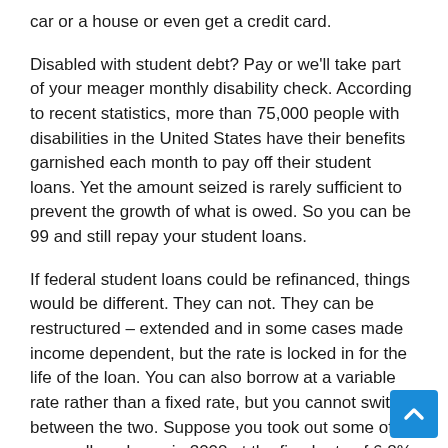car or a house or even get a credit card.
Disabled with student debt? Pay or we'll take part of your meager monthly disability check. According to recent statistics, more than 75,000 people with disabilities in the United States have their benefits garnished each month to pay off their student loans. Yet the amount seized is rarely sufficient to prevent the growth of what is owed. So you can be 99 and still repay your student loans.
If federal student loans could be refinanced, things would be different. They can not. They can be restructured – extended and in some cases made income dependent, but the rate is locked in for the life of the loan. You can also borrow at a variable rate rather than a fixed rate, but you cannot switch between the two. Suppose you took out some of your college loans in 2008 at the fixed rate of 6.8% then in effect. In this case, you've been paying 6.8% for 13 years now, even though interest rates over that time (until very recently) have dropped